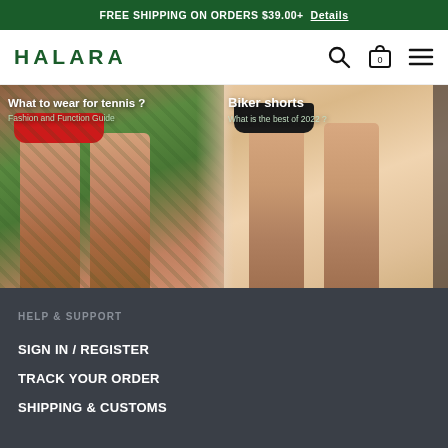FREE SHIPPING ON ORDERS $39.00+  Details
HALARA
[Figure (photo): Two side-by-side blog post thumbnail images. Left image: legs in red tennis skirt on green court with text 'What to wear for tennis ? Fashion and Function Guide'. Right image: legs in dark biker shorts on white background with text 'Biker shorts What is the best of 2022 ?']
HELP & SUPPORT
SIGN IN / REGISTER
TRACK YOUR ORDER
SHIPPING & CUSTOMS